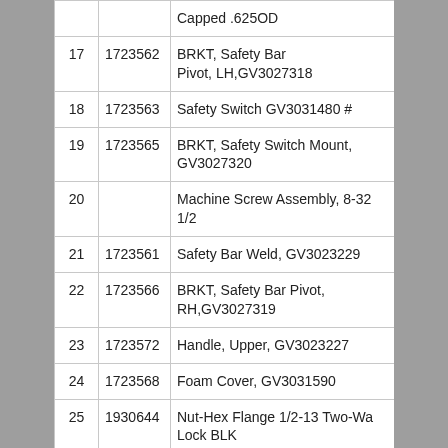| Item | Part No. | Description |
| --- | --- | --- |
|  |  | Capped .625OD |
| 17 | 1723562 | BRKT, Safety Bar Pivot, LH,GV3027318 |
| 18 | 1723563 | Safety Switch GV3031480 # |
| 19 | 1723565 | BRKT, Safety Switch Mount, GV3027320 |
| 20 |  | Machine Screw Assembly, 8-32 1/2 |
| 21 | 1723561 | Safety Bar Weld, GV3023229 |
| 22 | 1723566 | BRKT, Safety Bar Pivot, RH,GV3027319 |
| 23 | 1723572 | Handle, Upper, GV3023227 |
| 24 | 1723568 | Foam Cover, GV3031590 |
| 25 | 1930644 | Nut-Hex Flange 1/2-13 Two-Way Lock BLK |
| 26 | 1921221 | Capscrew-Hex HD 5/16-18X1.5 G5 BLK |